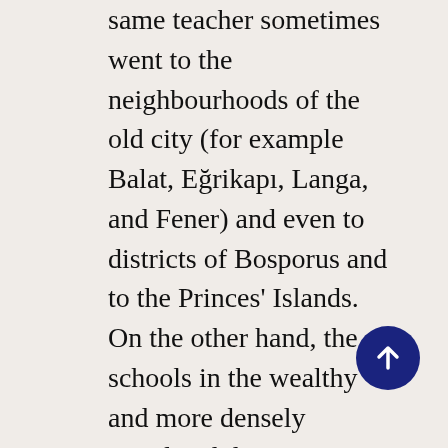same teacher sometimes went to the neighbourhoods of the old city (for example Balat, Eğrikapı, Langa, and Fener) and even to districts of Bosporus and to the Princes' Islands. On the other hand, the schools in the wealthy and more densely populated districts as Pera, Tatavla (today's Kurtuluş), Galata, Evangelistria and Feriköy were in better condition. The economic condition of neighbourhood communities is an important issue, for most expenses of the schools were met by the church (with the support of church members). Donations gathered at the exhibitions opened during the rituals were usually used to meet the needs of the schools. Personal donations, the income obtained from the same teacher sometimes went to the